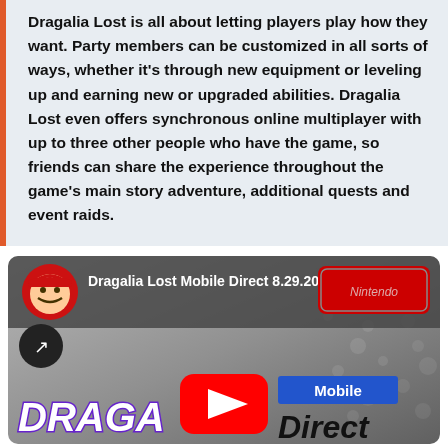Dragalia Lost is all about letting players play how they want. Party members can be customized in all sorts of ways, whether it's through new equipment or leveling up and earning new or upgraded abilities. Dragalia Lost even offers synchronous online multiplayer with up to three other people who have the game, so friends can share the experience throughout the game's main story adventure, additional quests and event raids.
[Figure (screenshot): YouTube video thumbnail for 'Dragalia Lost Mobile Direct 8.29.2018' by Nintendo, showing the Dragalia Lost logo and a YouTube play button overlay.]